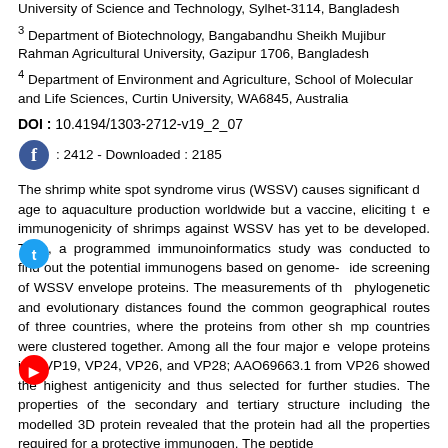University of Science and Technology, Sylhet-3114, Bangladesh
3 Department of Biotechnology, Bangabandhu Sheikh Mujibur Rahman Agricultural University, Gazipur 1706, Bangladesh
4 Department of Environment and Agriculture, School of Molecular and Life Sciences, Curtin University, WA6845, Australia
DOI : 10.4194/1303-2712-v19_2_07
Viewed : 2412 - Downloaded : 2185
The shrimp white spot syndrome virus (WSSV) causes significant damage to aquaculture production worldwide but a vaccine, eliciting the immunogenicity of shrimps against WSSV has yet to be developed. Thus, a programmed immunoinformatics study was conducted to find out the potential immunogens based on genome-wide screening of WSSV envelope proteins. The measurements of the phylogenetic and evolutionary distances found the common geographical routes of three countries, where the proteins from other shrimp countries were clustered together. Among all the four major envelope proteins i.e., VP19, VP24, VP26, and VP28; AAO69663.1 from VP26 showed the highest antigenicity and thus selected for further studies. The properties of the secondary and tertiary structure including the modelled 3D protein revealed that the protein had all the properties required for a protective immunogen. The peptide